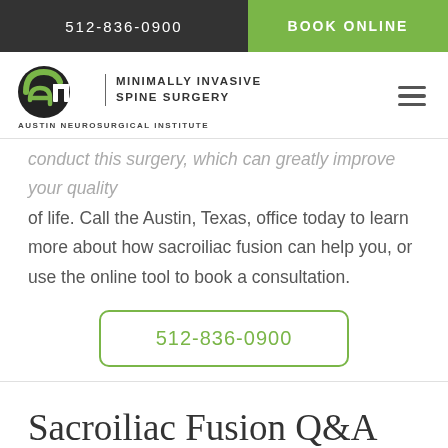512-836-0900 | BOOK ONLINE
[Figure (logo): Austin Neurosurgical Institute logo with 'ani' letters and text 'MINIMALLY INVASIVE SPINE SURGERY / AUSTIN NEUROSURGICAL INSTITUTE']
conduct this surgery, which can greatly improve your quality of life. Call the Austin, Texas, office today to learn more about how sacroiliac fusion can help you, or use the online tool to book a consultation.
512-836-0900
Sacroiliac Fusion Q&A